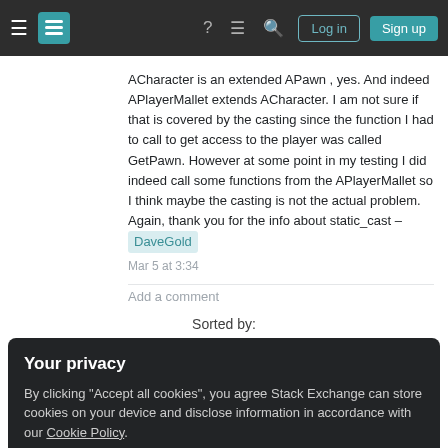Stack Exchange navigation bar with Log in and Sign up buttons
ACharacter is an extended APawn , yes. And indeed APlayerMallet extends ACharacter. I am not sure if that is covered by the casting since the function I had to call to get access to the player was called GetPawn. However at some point in my testing I did indeed call some functions from the APlayerMallet so I think maybe the casting is not the actual problem. Again, thank you for the info about static_cast – DaveGold
Mar 5 at 3:34
Add a comment
Sorted by:
Your privacy
By clicking "Accept all cookies", you agree Stack Exchange can store cookies on your device and disclose information in accordance with our Cookie Policy.
Accept all cookies
Customize settings